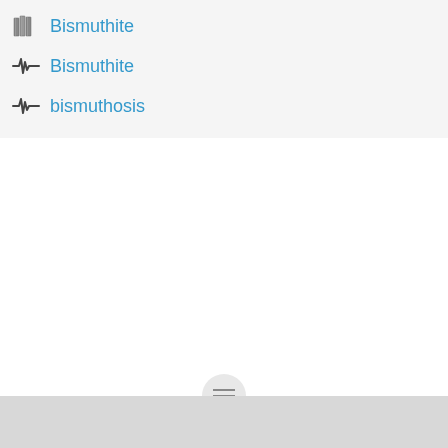Bismuthite
Bismuthite
bismuthosis